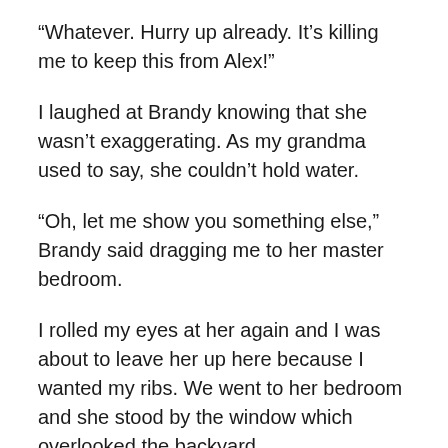“Whatever. Hurry up already. It’s killing me to keep this from Alex!”
I laughed at Brandy knowing that she wasn’t exaggerating. As my grandma used to say, she couldn’t hold water.
“Oh, let me show you something else,” Brandy said dragging me to her master bedroom.
I rolled my eyes at her again and I was about to leave her up here because I wanted my ribs. We went to her bedroom and she stood by the window which overlooked the backyard.
“Girl, look at these folks out here ʼ to dance!”